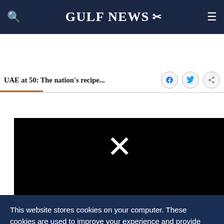GULF NEWS
UAE at 50: The nation's recipe...
[Figure (screenshot): Black video player area with a white X close button in the upper portion]
Economic diversification away from reliance on oil
This website stores cookies on your computer. These cookies are used to improve your experience and provide more personalized service to you. Both on your website and other media. To find out more about the cookies and data we use, please check out our Privacy Policy.
OK